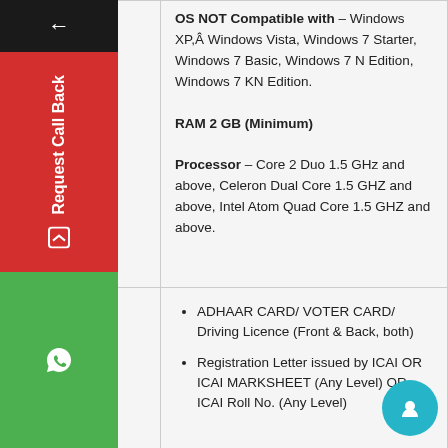| Category | Details |
| --- | --- |
| System Requirements | OS NOT Compatible with – Windows XP,Â Windows Vista, Windows 7 Starter, Windows 7 Basic, Windows 7 N Edition, Windows 7 KN Edition.
RAM 2 GB (Minimum)
Processor – Core 2 Duo 1.5 GHz and above, Celeron Dual Core 1.5 GHZ and above, Intel Atom Quad Core 1.5 GHZ and above. |
| Additional Requirement | • ADHAAR CARD/ VOTER CARD/ Driving Licence (Front & Back, both)
• Registration Letter issued by ICAI OR ICAI MARKSHEET (Any Level) OR ICAI Roll No. (Any Level) |
| Delivery Time | 7 – 8 Days (approximately as promised by courier facility). However, it may take longer in exceptional circumstances. Tracking |